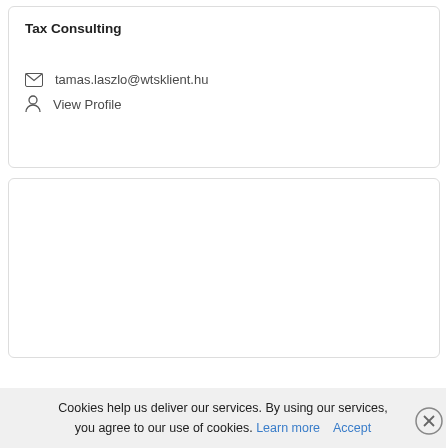Tax Consulting
tamas.laszlo@wtsklient.hu
View Profile
Cookies help us deliver our services. By using our services, you agree to our use of cookies. Learn more  Accept